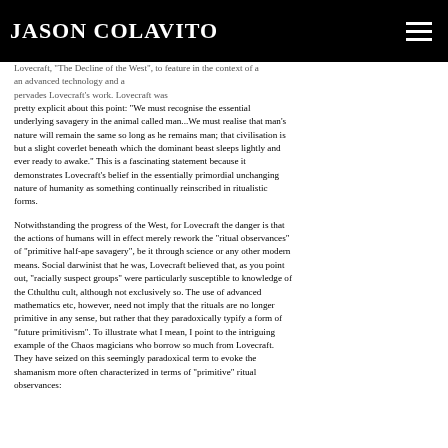JASON COLAVITO
Lovecraft, "The Decline of the West", to feature in the context of an advanced technology and a... pervades Lovecraft's work. Lovecraft was pretty explicit about this point: "We must recognise the essential underlying savagery in the animal called man...We must realise that man's nature will remain the same so long as he remains man; that civilisation is but a slight coverlet beneath which the dominant beast sleeps lightly and ever ready to awake." This is a fascinating statement because it demonstrates Lovecraft's belief in the essentially primordial unchanging nature of humanity as something continually reinscribed in ritualistic forms.
Notwithstanding the progress of the West, for Lovecraft the danger is that the actions of humans will in effect merely rework the "ritual observances" of "primitive half-ape savagery", be it through science or any other modern means. Social darwinist that he was, Lovecraft believed that, as you point out, "racially suspect groups" were particularly susceptible to knowledge of the Cthulthu cult, although not exclusively so. The use of advanced mathematics etc, however, need not imply that the rituals are no longer primitive in any sense, but rather that they paradoxically typify a form of "future primitivism". To illustrate what I mean, I point to the intriguing example of the Chaos magicians who borrow so much from Lovecraft. They have seized on this seemingly paradoxical term to evoke the shamanism more often characterized in terms of "primitive" ritual observances: